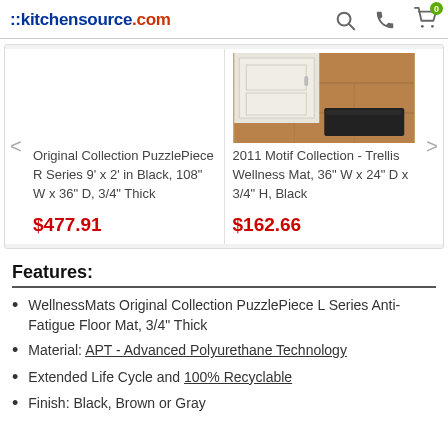::kitchensource.com
[Figure (photo): Product carousel showing two items: (1) Original Collection PuzzlePiece R Series mat, no image visible; (2) 2011 Motif Collection Trellis Wellness Mat shown in a kitchen setting, black mat near cabinet on wood floor.]
Original Collection PuzzlePiece R Series 9' x 2' in Black, 108" W x 36" D, 3/4" Thick
$477.91
2011 Motif Collection - Trellis Wellness Mat, 36" W x 24" D x 3/4" H, Black
$162.66
Features:
WellnessMats Original Collection PuzzlePiece L Series Anti-Fatigue Floor Mat, 3/4" Thick
Material: APT - Advanced Polyurethane Technology
Extended Life Cycle and 100% Recyclable
Finish: Black, Brown or Gray